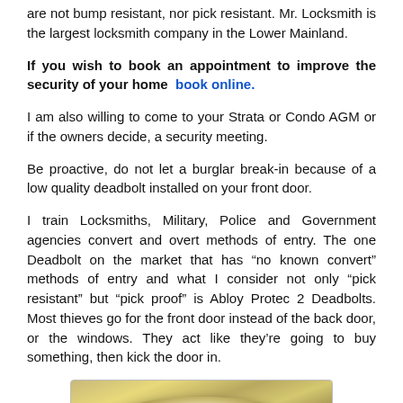are not bump resistant, nor pick resistant. Mr. Locksmith is the largest locksmith company in the Lower Mainland.
If you wish to book an appointment to improve the security of your home  book online.
I am also willing to come to your Strata or Condo AGM or if the owners decide, a security meeting.
Be proactive, do not let a burglar break-in because of a low quality deadbolt installed on your front door.
I train Locksmiths, Military, Police and Government agencies convert and overt methods of entry. The one Deadbolt on the market that has “no known convert” methods of entry and what I consider not only “pick resistant” but “pick proof” is Abloy Protec 2 Deadbolts. Most thieves go for the front door instead of the back door, or the windows. They act like they’re going to buy something, then kick the door in.
[Figure (photo): Close-up photo of a brass/gold deadbolt lock mechanism]